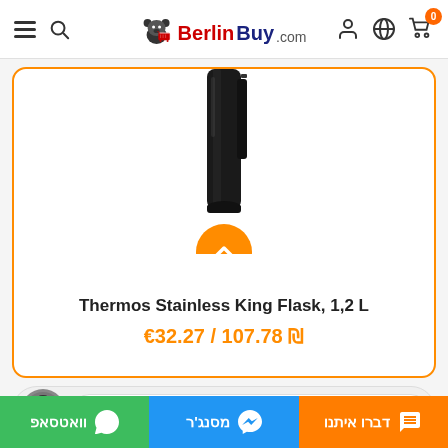BerlinBuy.com
[Figure (screenshot): Product image of a black Thermos Stainless King Flask, partially visible at top of card, with an orange circular up-arrow button overlaid at the bottom center]
Thermos Stainless King Flask, 1,2 L
€32.27 / 107.78 ₪
[Figure (screenshot): Chat row with avatar and input field]
וואטסאפ | מסנג'ר | דברו איתנו